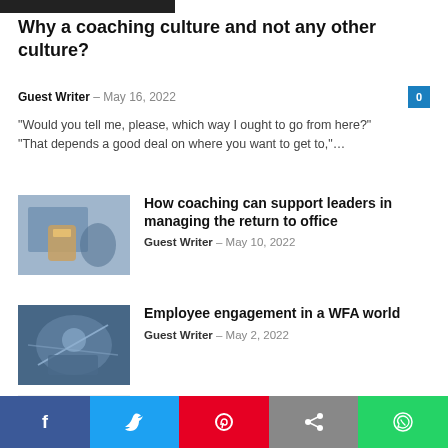[Figure (other): Dark banner/logo bar at top]
Why a coaching culture and not any other culture?
Guest Writer – May 16, 2022   0
“Would you tell me, please, which way I ought to go from here?” “That depends a good deal on where you want to get to,”…
[Figure (photo): Coffee cup on desk with laptop in background]
How coaching can support leaders in managing the return to office
Guest Writer – May 10, 2022
[Figure (photo): Person working on laptop with futuristic overlay]
Employee engagement in a WFA world
Guest Writer – May 2, 2022
[Figure (photo): Colorful balloons celebration image]
Leadership Conversations
Guest Writer – April 25, 2022
[Figure (infographic): Social sharing bar with Facebook, Twitter, Pinterest, Share, WhatsApp buttons]